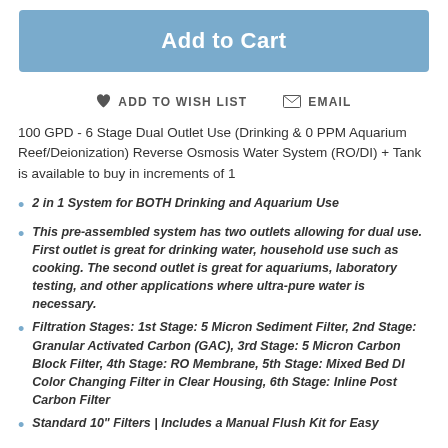Add to Cart
ADD TO WISH LIST   EMAIL
100 GPD - 6 Stage Dual Outlet Use (Drinking & 0 PPM Aquarium Reef/Deionization) Reverse Osmosis Water System (RO/DI) + Tank is available to buy in increments of 1
2 in 1 System for BOTH Drinking and Aquarium Use
This pre-assembled system has two outlets allowing for dual use. First outlet is great for drinking water, household use such as cooking. The second outlet is great for aquariums, laboratory testing, and other applications where ultra-pure water is necessary.
Filtration Stages: 1st Stage: 5 Micron Sediment Filter, 2nd Stage: Granular Activated Carbon (GAC), 3rd Stage: 5 Micron Carbon Block Filter, 4th Stage: RO Membrane, 5th Stage: Mixed Bed DI Color Changing Filter in Clear Housing, 6th Stage: Inline Post Carbon Filter
Standard 10" Filters | Includes a Manual Flush Kit for Easy